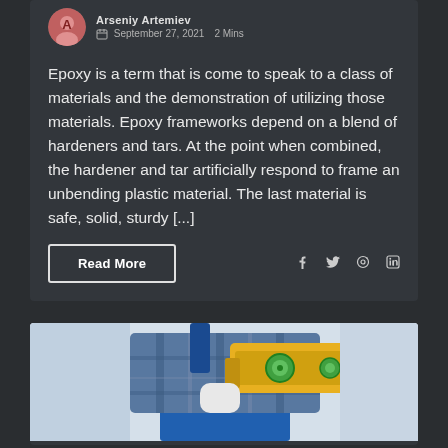September 27, 2021    2 Mins
Epoxy is a term that is come to speak to a class of materials and the demonstration of utilizing those materials. Epoxy frameworks depend on a blend of hardeners and tars. At the point when combined, the hardener and tar artificially respond to frame an unbending plastic material. The last material is safe, solid, sturdy [...]
Read More
[Figure (photo): Photo of a person wearing a plaid shirt and blue apron holding a yellow spirit level tool]